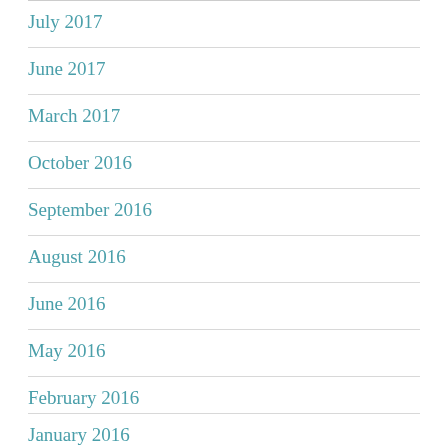July 2017
June 2017
March 2017
October 2016
September 2016
August 2016
June 2016
May 2016
February 2016
January 2016